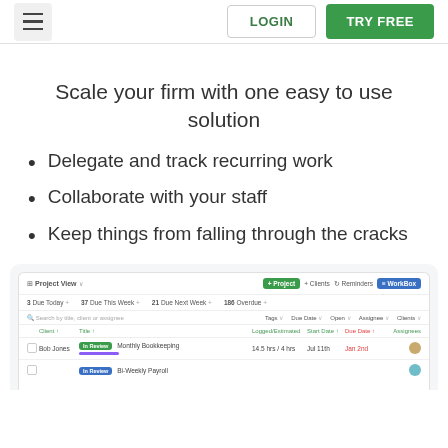LOGIN | TRY FREE
Scale your firm with one easy to use solution
Delegate and track recurring work
Collaborate with your staff
Keep things from falling through the cracks
[Figure (screenshot): Project management software dashboard mockup showing a project view with task list, client names, task badges, logged/estimated time, start dates, due dates, and assignee columns. Includes navigation bar with Project, Clients, Reminders, and WorkBox buttons.]